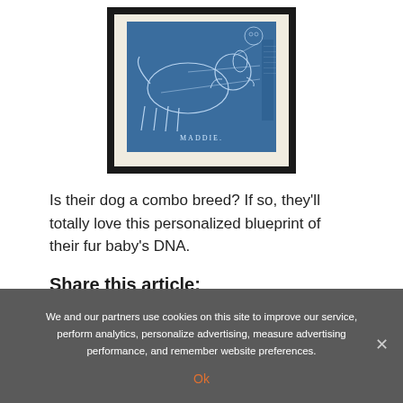[Figure (illustration): A framed blueprint-style print of a dog labeled 'MADDIE' — blueprint drawing in blue tones with white line art of a dog in profile view, with technical annotations, in a black frame with cream mat]
Is their dog a combo breed? If so, they'll totally love this personalized blueprint of their fur baby's DNA.
Share this article:
We and our partners use cookies on this site to improve our service, perform analytics, personalize advertising, measure advertising performance, and remember website preferences.
Ok